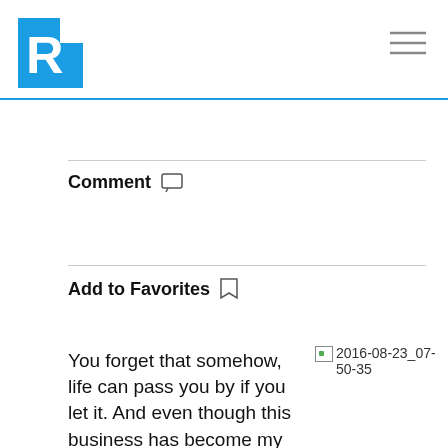R logo and hamburger menu navigation
Comment
Add to Favorites
You forget that somehow, life can pass you by if you let it. And even though this business has become my life, it's still hard for me to take a step back and realize that it's really been five years – that's an eternity, in internet time.
[Figure (photo): Broken image placeholder labeled 2016-08-23_07-50-35]